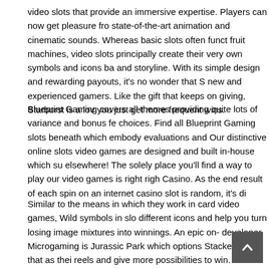video slots that provide an immersive expertise. Players can now get pleasure from state-of-the-art animation and cinematic sounds. Whereas basic slots often function as fruit machines, video slots principally create their very own symbols and icons based and storyline. With its simple design and rewarding payouts, it's no wonder that S new and experienced gamers. Like the gift that keeps on giving, Starburst is alov you just get more frequent wins.
Blueprint Gaming covers all themes providing quite lots of variance and bonus fe choices. Find all Blueprint Gaming slots beneath which embody evaluations and Our distinctive online slots video games are designed and built in-house which su elsewhere! The solely place you'll find a way to play our video games is right righ Casino. As the end result of each spin on an internet casino slot is random, it's di
Similar to the means in which they work in card video games, Wild symbols in slo different icons and help you turn losing image mixtures into winnings. An epic on-developer Microgaming is Jurassic Park which options Stacked Wilds that as thei reels and give more possibilities to win. You needed to spin 3 reels with a handfu the symbols lined up in sure mixtures you'll win. In today's online slots, the reels muse for many extra bonus options and particular symbols that past making gam you many more chances to win.